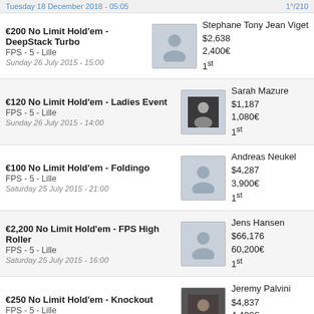Tuesday 18 December 2018 - 05:05 | 1°/210
€200 No Limit Hold'em - DeepStack Turbo | FPS - 5 - Lille | Sunday 26 July 2015 - 15:00 | Stephane Tony Jean Viget | $2,638 | 2,400€ | 1st
€120 No Limit Hold'em - Ladies Event | FPS - 5 - Lille | Sunday 26 July 2015 - 14:00 | Sarah Mazure | $1,187 | 1,080€ | 1st
€100 No Limit Hold'em - Foldingo | FPS - 5 - Lille | Saturday 25 July 2015 - 21:00 | Andreas Neukel | $4,287 | 3,900€ | 1st
€2,200 No Limit Hold'em - FPS High Roller | FPS - 5 - Lille | Saturday 25 July 2015 - 16:00 | Jens Hansen | $66,176 | 60,200€ | 1st
€250 No Limit Hold'em - Knockout | FPS - 5 - Lille | Thursday 23 July 2015 - 20:00 | Jeremy Palvini | $4,837 | 4,400€ | 1st
More »